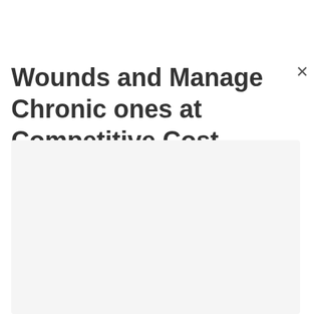Wounds and Manage Chronic ones at Competitive Cost
[Figure (other): Empty light gray content area below the title]